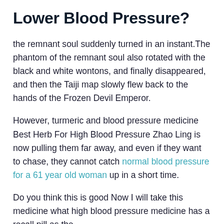Lower Blood Pressure?
the remnant soul suddenly turned in an instant.The phantom of the remnant soul also rotated with the black and white wontons, and finally disappeared, and then the Taiji map slowly flew back to the hands of the Frozen Devil Emperor.
However, turmeric and blood pressure medicine Best Herb For High Blood Pressure Zhao Ling is now pulling them far away, and even if they want to chase, they cannot catch normal blood pressure for a 61 year old woman up in a short time.
Do you think this is good Now I will take this medicine what high blood pressure medicine has a recall pill as the .
Are smoothies good for high blood pressure?
what causes severe high blood pressure——So cold.As